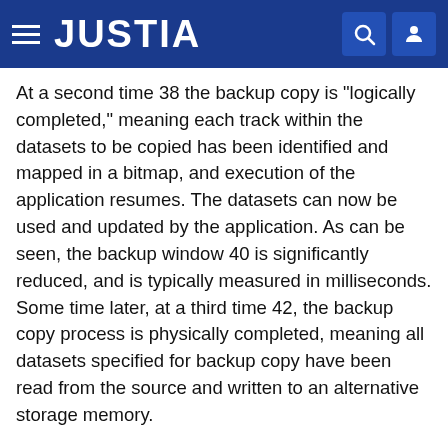JUSTIA
At a second time 38 the backup copy is "logically completed," meaning each track within the datasets to be copied has been identified and mapped in a bitmap, and execution of the application resumes. The datasets can now be used and updated by the application. As can be seen, the backup window 40 is significantly reduced, and is typically measured in milliseconds. Some time later, at a third time 42, the backup copy process is physically completed, meaning all datasets specified for backup copy have been read from the source and written to an alternative storage memory.
Referring to FIG. 4, there is depicted a conceptual flow of the creation of a time zero backup copy according to the present invention. As illustrated, a time zero backup copy of data within a tracked cyclic storage device 44 may be created. As those skilled in the art will